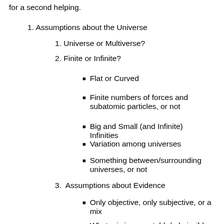for a second helping.
1. Assumptions about the Universe
1. Universe or Multiverse?
2. Finite or Infinite?
Flat or Curved
Finite numbers of forces and subatomic particles, or not
Big and Small (and Infinite) Infinities
Variation among universes
Something between/surrounding universes, or not
3.  Assumptions about Evidence
Only objective, only subjective, or a mix
What mix is acceptable/admissible
2. Assumptions about God
1. Limited or unlimited knowledge, power, or